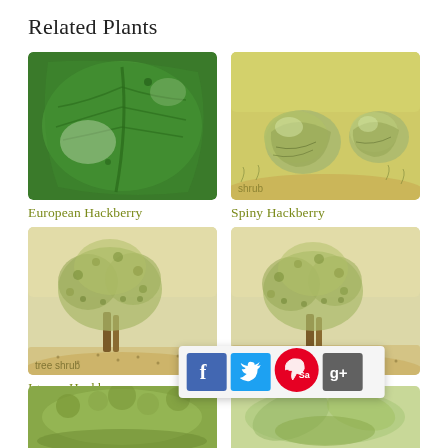Related Plants
[Figure (photo): Close-up photo of large green leaves of European Hackberry]
European Hackberry
[Figure (illustration): Botanical illustration of Spiny Hackberry fruits/shrub labeled 'shrub']
Spiny Hackberry
[Figure (illustration): Botanical illustration of Iguana Hackberry tree shrub labeled 'tree shrub']
Iguana Hackberry
[Figure (illustration): Botanical illustration of Sugarberry tree shrub labeled 'tree shrub']
Sugarberry
[Figure (screenshot): Social media sharing bar with Facebook, Twitter, Pinterest (Save), and Google+ icons]
[Figure (photo): Partial photo of a plant at bottom left]
[Figure (photo): Partial photo of a plant at bottom right]